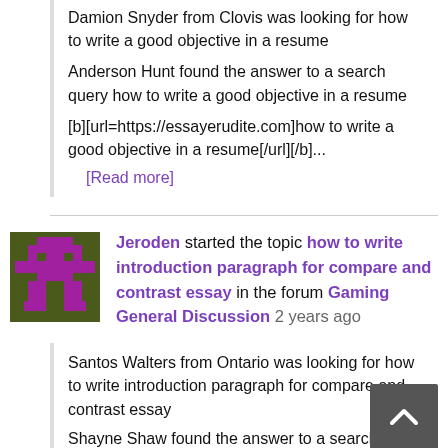Damion Snyder from Clovis was looking for how to write a good objective in a resume
Anderson Hunt found the answer to a search query how to write a good objective in a resume
[b][url=https://essayerudite.com]how to write a good objective in a resume[/url][/b]...
[Read more]
Jeroden started the topic how to write introduction paragraph for compare and contrast essay in the forum Gaming General Discussion 2 years ago
Santos Walters from Ontario was looking for how to write introduction paragraph for compare and contrast essay
Shayne Shaw found the answer to a search